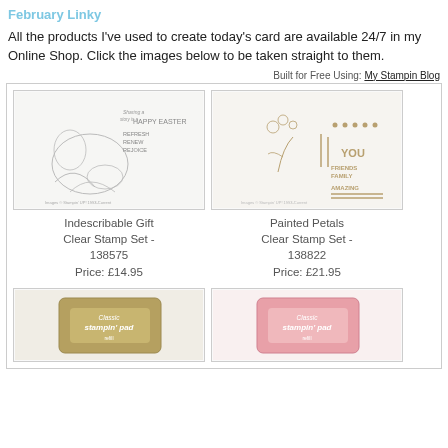February Linky at BEIAN
All the products I've used to create today's card are available 24/7 in my Online Shop. Click the images below to be taken straight to them.
Built for Free Using: My Stampin Blog
[Figure (illustration): Indescribable Gift Clear Stamp Set product image with floral stamp designs and text stamps]
Indescribable Gift Clear Stamp Set - 138575
Price: £14.95
[Figure (illustration): Painted Petals Clear Stamp Set product image with floral stamp designs]
Painted Petals Clear Stamp Set - 138822
Price: £21.95
[Figure (illustration): Classic Stampin' Pad - tan/khaki color]
[Figure (illustration): Classic Stampin' Pad - pink/rose color]